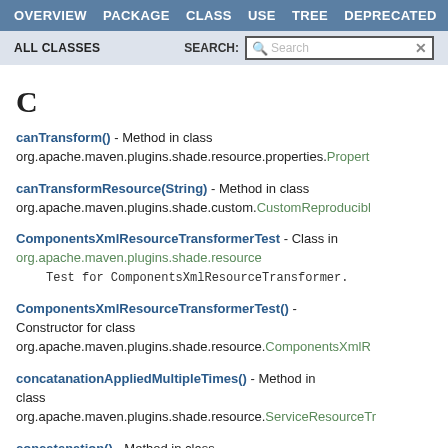OVERVIEW  PACKAGE  CLASS  USE  TREE  DEPRECATED
ALL CLASSES   SEARCH:
C
canTransform() - Method in class org.apache.maven.plugins.shade.resource.properties.Propert
canTransformResource(String) - Method in class org.apache.maven.plugins.shade.custom.CustomReproducibl
ComponentsXmlResourceTransformerTest - Class in org.apache.maven.plugins.shade.resource
    Test for ComponentsXmlResourceTransformer.
ComponentsXmlResourceTransformerTest() - Constructor for class org.apache.maven.plugins.shade.resource.ComponentsXmlR
concatanationAppliedMultipleTimes() - Method in class org.apache.maven.plugins.shade.resource.ServiceResourceTr
concatenation() - Method in class org.apache.maven.plugins.shade.resource.ServiceResourceTr